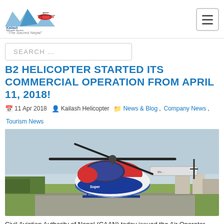Kailash Helicopter Services - The Sacred Nepal
B2 HELICOPTER STARTED ITS COMMERCIAL OPERATION FROM APRIL 11, 2018!
11 Apr 2018  Kailash Helicopter  News & Blog, Company News, Tourism News
[Figure (photo): A red, white, and blue helicopter (Airbus H125 / AS350 B2) parked on a tarmac with rotor blades extended, green grass and buildings visible in background, overcast sky.]
Civil Aviation Authority of Nepal (CAAN) today issued the Air Operator Certificate (AOC) to commence commercial Operation...